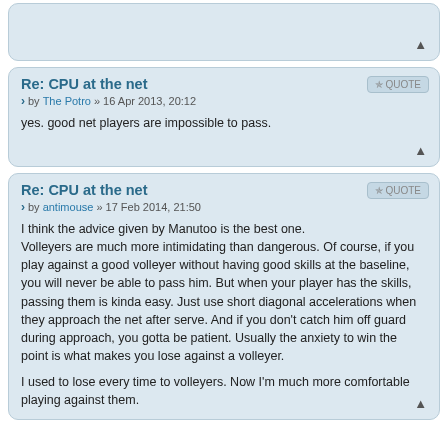Re: CPU at the net
by The Potro » 16 Apr 2013, 20:12
yes. good net players are impossible to pass.
Re: CPU at the net
by antimouse » 17 Feb 2014, 21:50
I think the advice given by Manutoo is the best one. Volleyers are much more intimidating than dangerous. Of course, if you play against a good volleyer without having good skills at the baseline, you will never be able to pass him. But when your player has the skills, passing them is kinda easy. Just use short diagonal accelerations when they approach the net after serve. And if you don't catch him off guard during approach, you gotta be patient. Usually the anxiety to win the point is what makes you lose against a volleyer.

I used to lose every time to volleyers. Now I'm much more comfortable playing against them.